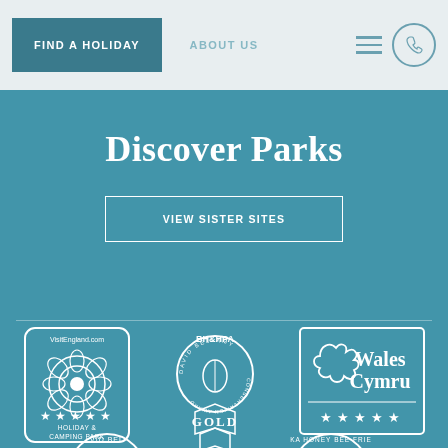FIND A HOLIDAY | ABOUT US
Discover Parks
VIEW SISTER SITES
[Figure (logo): VisitEngland.com 5-star Holiday & Camping Park badge with rose emblem]
[Figure (logo): BH&HPA David Bellamy Conservation Award GOLD ribbon badge]
[Figure (logo): Wales Cymru 5-star rating badge with dragon emblem]
[Figure (logo): Partial David Bellamy badge at bottom left]
[Figure (logo): Partial Honey Bee Friendly badge at bottom right]